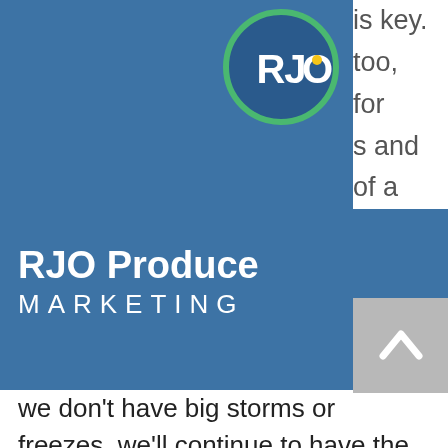[Figure (logo): RJO Produce Marketing logo: white RJO letters with gold dot on O, inside a circular green-bordered dark blue circle, on a blue rectangular header bar.]
RJO Produce MARKETING
is key. too, for s and of a way: as we don't have big storms or freezes, we'll continue to have the best and newest varieties, and the best production," he reflects. And so far, those in the table grape business are brimming with pride over good yields, record breaking sales, and exciting new flavors.